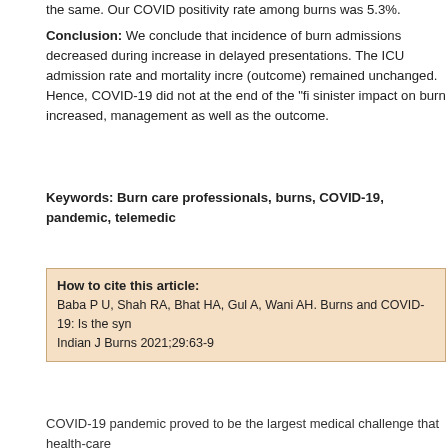the same. Our COVID positivity rate among burns was 5.3%.
Conclusion: We conclude that incidence of burn admissions decreased during the pandemic with an increase in delayed presentations. The ICU admission rate and mortality increased but the TBSA (outcome) remained unchanged. Hence, COVID-19 did not at the end of the "fi nal analysis" have a sinister impact on burn increased, management as well as the outcome.
Keywords: Burn care professionals, burns, COVID-19, pandemic, telemedicine
How to cite this article: Baba P U, Shah RA, Bhat HA, Gul A, Wani AH. Burns and COVID-19: Is the synergy avoidable Indian J Burns 2021;29:63-9
This website uses cookies. By continuing to use this website you are giving consent to cookies being used. For information on cookies and how you can disable them visit our Privacy and Cookie Policy.
AGREE & PROCEED
COVID-19 pandemic proved to be the largest medical challenge that health-care